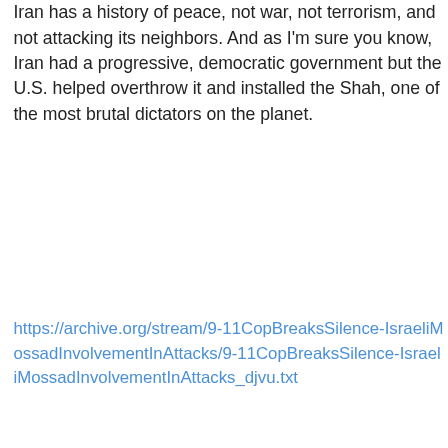Iran has a history of peace, not war, not terrorism, and not attacking its neighbors. And as I'm sure you know, Iran had a progressive, democratic government but the U.S. helped overthrow it and installed the Shah, one of the most brutal dictators on the planet.
https://archive.org/stream/9-11CopBreaksSilence-IsraeliMossadInvolvementInAttacks/9-11CopBreaksSilence-IsraeliMossadInvolvementInAttacks_djvu.txt
Greg Hunter  Reply
Henry,
08/01/2015
First of all, the first link in this post was: